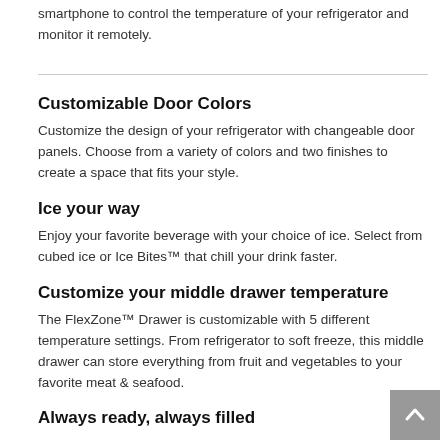smartphone to control the temperature of your refrigerator and monitor it remotely.
Customizable Door Colors
Customize the design of your refrigerator with changeable door panels. Choose from a variety of colors and two finishes to create a space that fits your style.
Ice your way
Enjoy your favorite beverage with your choice of ice. Select from cubed ice or Ice Bites™ that chill your drink faster.
Customize your middle drawer temperature
The FlexZone™ Drawer is customizable with 5 different temperature settings. From refrigerator to soft freeze, this middle drawer can store everything from fruit and vegetables to your favorite meat & seafood.
Always ready, always filled